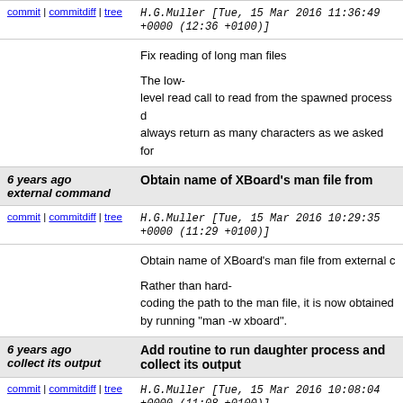commit | commitdiff | tree  H.G.Muller [Tue, 15 Mar 2016 11:36:49 +0000 (12:36 +0100)]
Fix reading of long man files

The low-level read call to read from the spawned process does not always return as many characters as we asked for
6 years ago  Obtain name of XBoard's man file from external command
commit | commitdiff | tree  H.G.Muller [Tue, 15 Mar 2016 10:29:35 +0000 (11:29 +0100)]
Obtain name of XBoard's man file from external command

Rather than hard-coding the path to the man file, it is now obtained by running "man -w xboard".
6 years ago  Add routine to run daughter process and collect its output
commit | commitdiff | tree  H.G.Muller [Tue, 15 Mar 2016 10:08:04 +0000 (11:08 +0100)]
Add routine to run daughter process and collect its